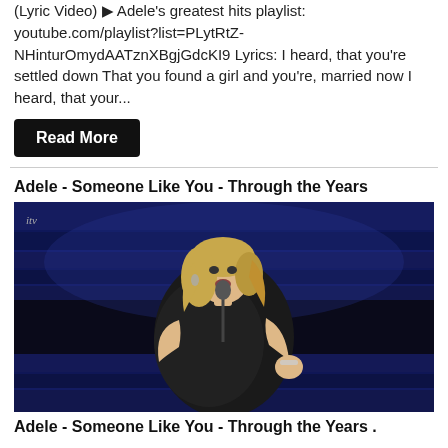(Lyric Video) ▶ Adele's greatest hits playlist: youtube.com/playlist?list=PLytRtZ-NHinturOmydAATznXBgjGdcKI9 Lyrics: I heard, that you're settled down That you found a girl and you're, married now I heard, that your...
Read More
Adele - Someone Like You - Through the Years
[Figure (photo): Adele performing on stage in a black sparkly off-shoulder outfit, singing into a microphone with blue-lit staircase backdrop. ITV watermark in top left corner.]
Adele - Someone Like You - Through the Years .